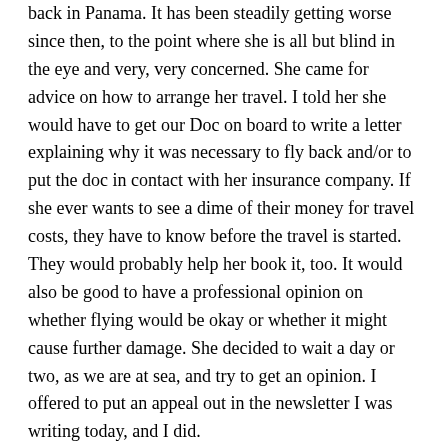back in Panama.  It has been steadily getting worse since then, to the point where she is all but blind in the eye and very, very concerned.  She came for advice on how to arrange her travel.  I told her she would have to get our Doc on board to write a letter explaining why it was necessary to fly back and/or to put the doc in contact with her insurance company.  If she ever wants to see a dime of their money for travel costs, they have to know before the travel is started.  They would probably help her book it, too.  It would also be good to have a professional opinion on whether flying would be okay or whether it might cause further damage.  She decided to wait a day or two, as we are at sea, and try to get an opinion.  I offered to put an appeal out in the newsletter I was writing today, and I did.
I finished the newsletter, delivered it, and retired to the promenade deck with Elvon and a bunch of Hong